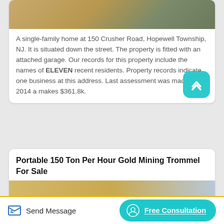[Figure (photo): Top portion of a photo showing a dirt/gravel road or driveway area with sandy and grassy terrain]
A single-family home at 150 Crusher Road, Hopewell Township, NJ. It is situated down the street. The property is fitted with an attached garage. Our records for this property include the names of ELEVEN recent residents. Property records indicate one business at this address. Last assessment was made in 2014 a makes $361.8k.
Portable 150 Ton Per Hour Gold Mining Trommel For Sale
[Figure (photo): Partial photo of gold mining trommel equipment]
Send Message
Free Consultation